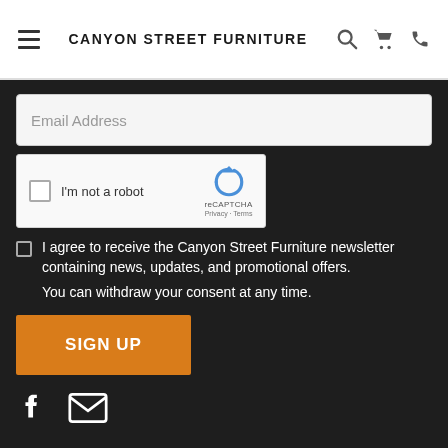CANYON STREET FURNITURE
Email Address
[Figure (screenshot): reCAPTCHA widget with checkbox labeled 'I'm not a robot']
I agree to receive the Canyon Street Furniture newsletter containing news, updates, and promotional offers. You can withdraw your consent at any time.
SIGN UP
[Figure (illustration): Social icons: Facebook and email envelope]